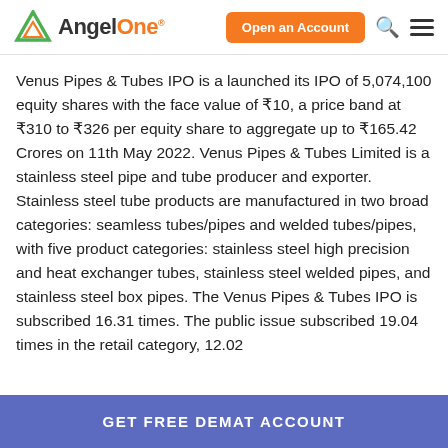AngelOne — Open an Account
Venus Pipes & Tubes IPO is a launched its IPO of 5,074,100 equity shares with the face value of ₹10, a price band at ₹310 to ₹326 per equity share to aggregate up to ₹165.42 Crores on 11th May 2022. Venus Pipes & Tubes Limited is a stainless steel pipe and tube producer and exporter. Stainless steel tube products are manufactured in two broad categories: seamless tubes/pipes and welded tubes/pipes, with five product categories: stainless steel high precision and heat exchanger tubes, stainless steel welded pipes, and stainless steel box pipes. The Venus Pipes & Tubes IPO is subscribed 16.31 times. The public issue subscribed 19.04 times in the retail category, 12.02
GET FREE DEMAT ACCOUNT